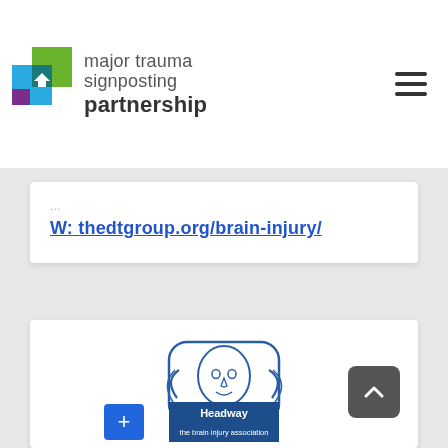[Figure (logo): Major Trauma Signposting Partnership logo with colored squares (teal, green, purple) and text 'major trauma signposting partnership']
W: thedtgroup.org/brain-injury/
[Figure (logo): Headway - the brain injury association logo, showing a face with hands around it and 'Headway the brain injury association' text on dark blue background]